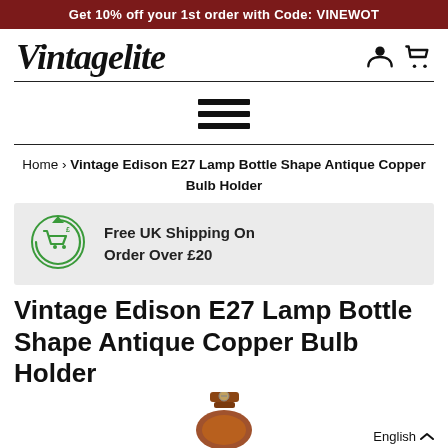Get 10% off your 1st order with Code: VINEWOT
[Figure (logo): Vintagelite script logo with user and cart icons]
[Figure (other): Hamburger menu icon (three horizontal bars)]
Home > Vintage Edison E27 Lamp Bottle Shape Antique Copper Bulb Holder
[Figure (infographic): Free UK Shipping On Order Over £20 banner with cart icon]
Vintage Edison E27 Lamp Bottle Shape Antique Copper Bulb Holder
[Figure (photo): Partial view of antique copper bulb holder product image]